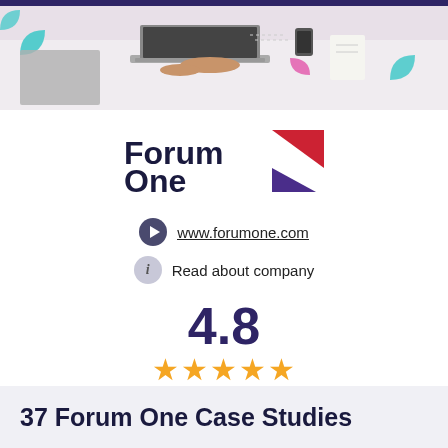[Figure (photo): Header photo showing a person working on a laptop from above, with teal and pink decorative shapes on a light background]
[Figure (logo): Forum One logo with bold dark navy text 'Forum One' and a red triangle and purple triangle forming an arrow/chevron shape]
www.forumone.com
Read about company
4.8
★★★★★
(670 Ratings)
37 Forum One Case Studies